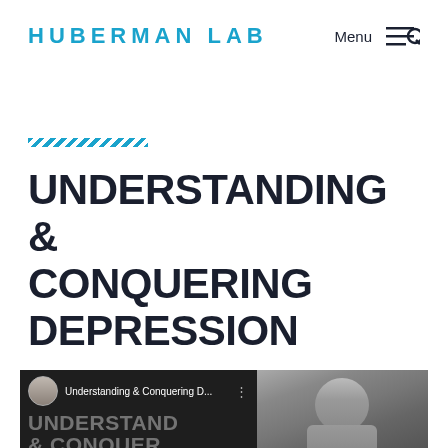HUBERMAN LAB
[Figure (other): Cyan diagonal stripe decorative bar]
UNDERSTANDING & CONQUERING DEPRESSION
[Figure (screenshot): YouTube video thumbnail showing 'Understanding & Conquering D...' with avatar icon, man's face photo, large overlaid text 'UNDERSTAND & CONQUER' and red YouTube play button]